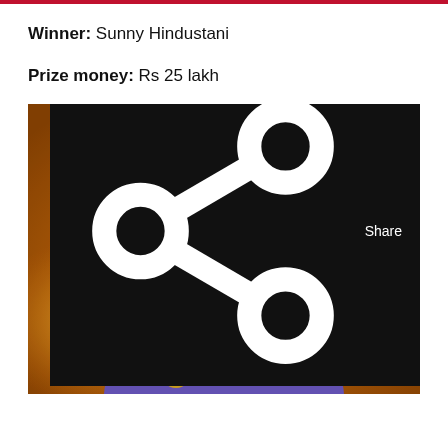Winner: Sunny Hindustani
Prize money: Rs 25 lakh
[Figure (photo): A young man in a blue bandhgala jacket holding a microphone, singing on stage with warm golden lighting in the background. He appears to be performing at a music competition event.]